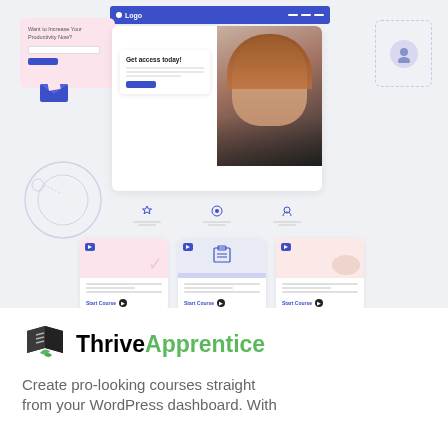[Figure (screenshot): Screenshot of a course/membership website builder UI showing: a pink signup card with 'Want to Increase Your Productivity Now?' text and Sign Up button, a navigation bar with Logo text and blue background, a hero section with 'Get access today!' card and a woman with red hair, feature icons row, three course cards with 'Start Course' links, and decorative circular elements.]
[Figure (logo): Thrive Apprentice logo: open book icon with green leaf accent, followed by bold text 'Thrive' in dark color and 'Apprentice' in green.]
Create pro-looking courses straight from your WordPress dashboard. With